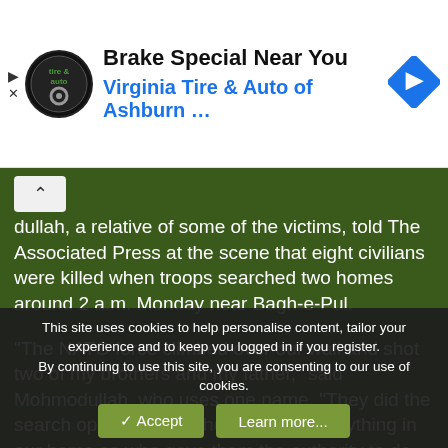[Figure (other): Advertisement banner: Virginia Tire & Auto of Ashburn - Brake Special Near You]
dullah, a relative of some of the victims, told The Associated Press at the scene that eight civilians were killed when troops searched two homes around 2 a.m. Monday near Bagh-e-Pul.
"The NATO force climbed over our wall and shot two of my brothers and my father," said Mohmodullah, who uses one name. "They did the search operation and they didn't find anything in our home so who gave them the authority to do it? If they were Taliban, they need to show us proof. Otherwise, they should be punished for it."
Mohammad Shah Faroogi, head of the investigation unit of the
This site uses cookies to help personalise content, tailor your experience and to keep you logged in if you register.
By continuing to use this site, you are consenting to our use of cookies.